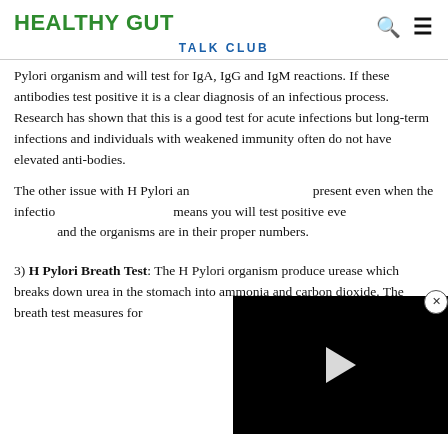HEALTHY GUT TALK CLUB
Pylori organism and will test for IgA, IgG and IgM reactions. If these antibodies test positive it is a clear diagnosis of an infectious process. Research has shown that this is a good test for acute infections but long-term infections and individuals with weakened immunity often do not have elevated anti-bodies.
The other issue with H Pylori antibodies is they can be present even when the infection has resolved as this means you will test positive even when you are healthy and the organisms are in their proper numbers.
[Figure (screenshot): Video player overlay with black background and white play button triangle, with a close (X) button in a circle at top-right corner]
3) H Pylori Breath Test: The H Pylori organism produce urease which breaks down urea in the stomach into ammonia and carbon dioxide. The breath test measures for